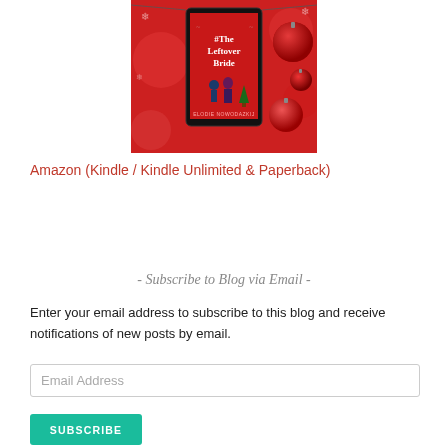[Figure (photo): Book cover of '#The Leftover Bride' by Elodie Nowodazkij on a red Christmas-themed background with ornament balls]
Amazon (Kindle / Kindle Unlimited & Paperback)
- Subscribe to Blog via Email -
Enter your email address to subscribe to this blog and receive notifications of new posts by email.
Email Address
SUBSCRIBE